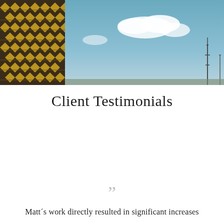[Figure (photo): Banner photo: left portion shows a decorative geometric tile/fabric pattern in gold and brown diamond shapes; right portion shows a blue sky with clouds and a distant radio tower/antenna silhouette.]
Client Testimonials
””
Matt´s work directly resulted in significant increases